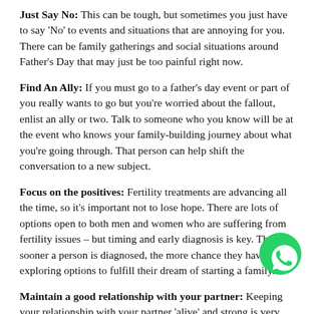Just Say No: This can be tough, but sometimes you just have to say 'No' to events and situations that are annoying for you. There can be family gatherings and social situations around Father's Day that may just be too painful right now.
Find An Ally: If you must go to a father's day event or part of you really wants to go but you're worried about the fallout, enlist an ally or two. Talk to someone who you know will be at the event who knows your family-building journey about what you're going through. That person can help shift the conversation to a new subject.
Focus on the positives: Fertility treatments are advancing all the time, so it's important not to lose hope. There are lots of options open to both men and women who are suffering from fertility issues – but timing and early diagnosis is key. The sooner a person is diagnosed, the more chance they have of exploring options to fulfill their dream of starting a family.
[Figure (logo): WhatsApp green circular button icon in bottom right corner]
Maintain a good relationship with your partner: Keeping your relationship with your partner 'alive' and strong is very important,